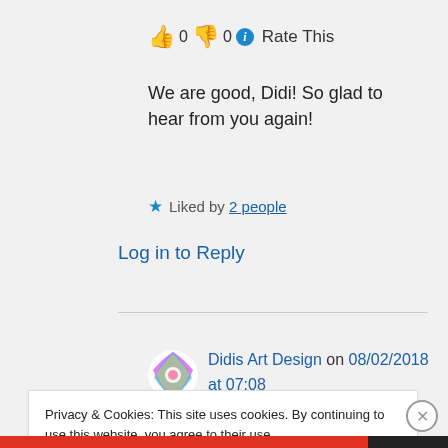👍 0 👎 0 ℹ Rate This
We are good, Didi! So glad to hear from you again!
★ Liked by 2 people
Log in to Reply
Didis Art Design on 08/02/2018 at 07:08
Privacy & Cookies: This site uses cookies. By continuing to use this website, you agree to their use.
To find out more, including how to control cookies, see here: Cookie Policy
Close and accept